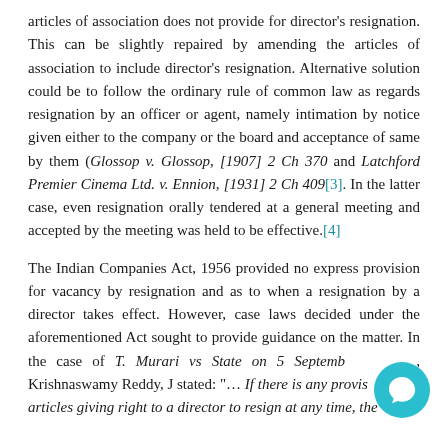articles of association does not provide for director's resignation. This can be slightly repaired by amending the articles of association to include director's resignation. Alternative solution could be to follow the ordinary rule of common law as regards resignation by an officer or agent, namely intimation by notice given either to the company or the board and acceptance of same by them (Glossop v. Glossop, [1907] 2 Ch 370 and Latchford Premier Cinema Ltd. v. Ennion, [1931] 2 Ch 409[3]. In the latter case, even resignation orally tendered at a general meeting and accepted by the meeting was held to be effective.[4]
The Indian Companies Act, 1956 provided no express provision for vacancy by resignation and as to when a resignation by a director takes effect. However, case laws decided under the aforementioned Act sought to provide guidance on the matter. In the case of T. Murari vs State on 5 September [5], Krishnaswamy Reddy, J stated: "... If there is any provision in the articles giving right to a director to resign at any time, the